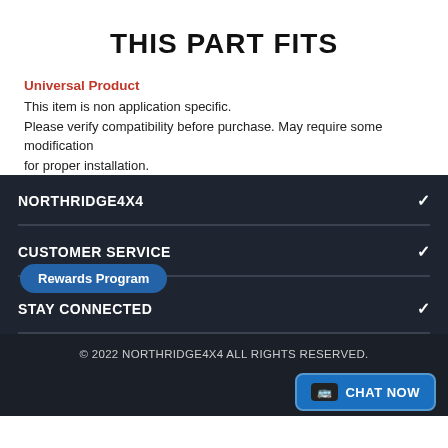THIS PART FITS
Universal Product
This item is non application specific.
Please verify compatibility before purchase. May require some modification for proper installation.
NORTHRIDGE4X4
CUSTOMER SERVICE
Rewards Program
STAY CONNECTED
© 2022 NORTHRIDGE4X4 ALL RIGHTS RESERVED.